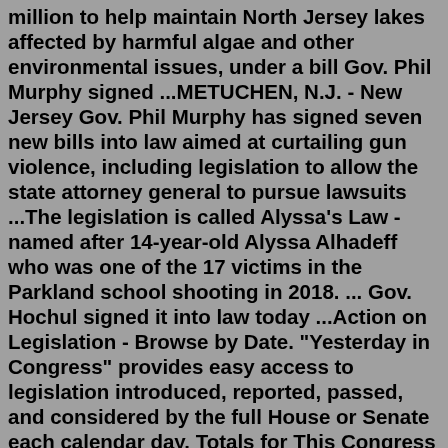million to help maintain North Jersey lakes affected by harmful algae and other environmental issues, under a bill Gov. Phil Murphy signed ...METUCHEN, N.J. - New Jersey Gov. Phil Murphy has signed seven new bills into law aimed at curtailing gun violence, including legislation to allow the state attorney general to pursue lawsuits ...The legislation is called Alyssa's Law - named after 14-year-old Alyssa Alhadeff who was one of the 17 victims in the Parkland school shooting in 2018. ... Gov. Hochul signed it into law today ...Action on Legislation - Browse by Date. "Yesterday in Congress" provides easy access to legislation introduced, reported, passed, and considered by the full House or Senate each calendar day. Totals for This Congress are calculated below. The most recent calendar business day is listed first. Note that bills may pass in both the House and ...In New Jersey, Governor Phil Murphy signed three bills into law Monday legalizing and decriminalizing marijuana. The legislation creates a regulated marijuana industry and addresses the... 1 day ago ·